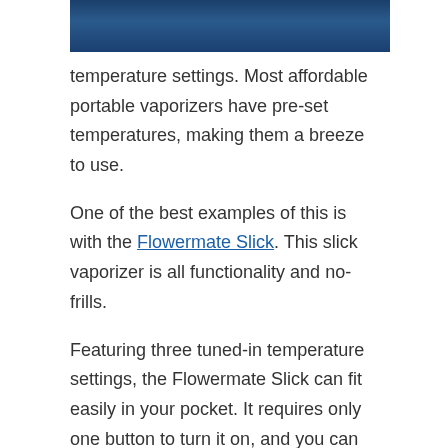[Figure (photo): Top portion of an image showing a vaporizer product against a blue/dark background, partially cropped at top of page]
temperature settings. Most affordable portable vaporizers have pre-set temperatures, making them a breeze to use.
One of the best examples of this is with the Flowermate Slick. This slick vaporizer is all functionality and no-frills.
Featuring three tuned-in temperature settings, the Flowermate Slick can fit easily in your pocket. It requires only one button to turn it on, and you can get up to 9 sessions per charge.
Desktop Vaporizers
If you're looking for an affordable vaporizer to